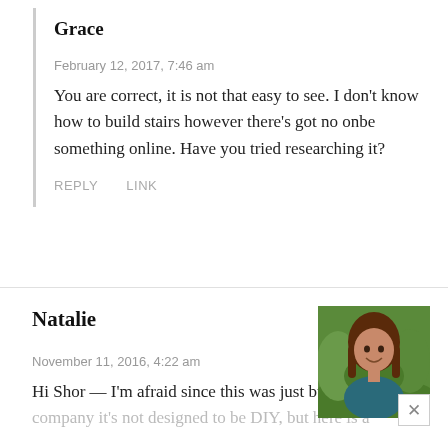Grace
February 12, 2017, 7:46 am
You are correct, it is not that easy to see. I don't know how to build stairs however there's got no onbe something online. Have you tried researching it?
REPLY   LINK
Natalie
November 11, 2016, 4:22 am
Hi Shor — I'm afraid since this was just built by a company it's not designed to be DIY, but here is a